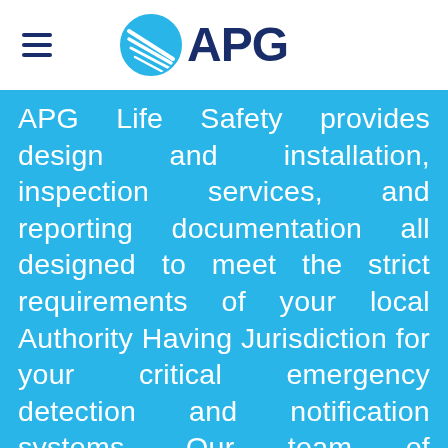APG Logo Header
APG Life Safety provides design and installation, inspection services, and reporting documentation all designed to meet the strict requirements of your local Authority Having Jurisdiction for your critical emergency detection and notification systems. Our team of professionals experienced in facility life safety management provides the resources needed to help achieve full compliance with